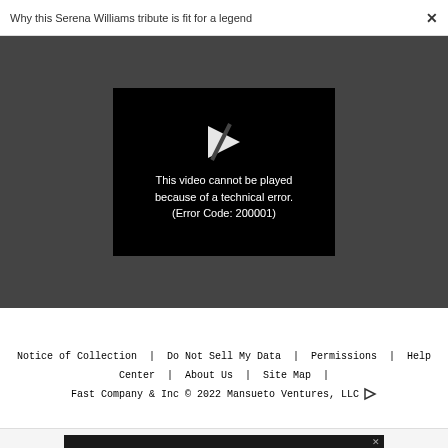Why this Serena Williams tribute is fit for a legend  ×
[Figure (screenshot): Black video player box showing a broken play icon and error message: 'This video cannot be played because of a technical error. (Error Code: 200001)' on a dark gray background.]
Notice of Collection  |  Do Not Sell My Data  |  Permissions  |  Help Center  |  About Us  |  Site Map  |  Fast Company & Inc © 2022 Mansueto Ventures, LLC
[Figure (other): Advertisement banner: CALL FOR ENTRIES, DEADLINE: SEPTEMBER 23, Most Innovative Companies with lightbulb icon]